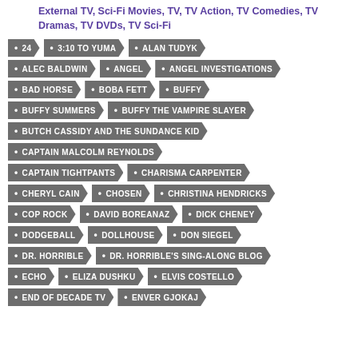External TV, Sci-Fi Movies, TV, TV Action, TV Comedies, TV Dramas, TV DVDs, TV Sci-Fi
24
3:10 TO YUMA
ALAN TUDYK
ALEC BALDWIN
ANGEL
ANGEL INVESTIGATIONS
BAD HORSE
BOBA FETT
BUFFY
BUFFY SUMMERS
BUFFY THE VAMPIRE SLAYER
BUTCH CASSIDY AND THE SUNDANCE KID
CAPTAIN MALCOLM REYNOLDS
CAPTAIN TIGHTPANTS
CHARISMA CARPENTER
CHERYL CAIN
CHOSEN
CHRISTINA HENDRICKS
COP ROCK
DAVID BOREANAZ
DICK CHENEY
DODGEBALL
DOLLHOUSE
DON SIEGEL
DR. HORRIBLE
DR. HORRIBLE'S SING-ALONG BLOG
ECHO
ELIZA DUSHKU
ELVIS COSTELLO
END OF DECADE TV
ENVER GJOKAJ